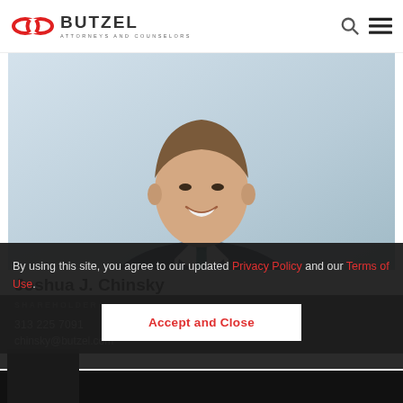[Figure (logo): Butzel Attorneys and Counselors logo with chain-link icon in red and dark grey BUTZEL wordmark]
[Figure (photo): Professional headshot of Joshua J. Chinsky in dark suit with teal tie, smiling, light blue-grey blurred background]
Joshua J. Chinsky
SHAREHOLDER
313 225 7091
chinsky@butzel.com
By using this site, you agree to our updated Privacy Policy and our Terms of Use.
Accept and Close